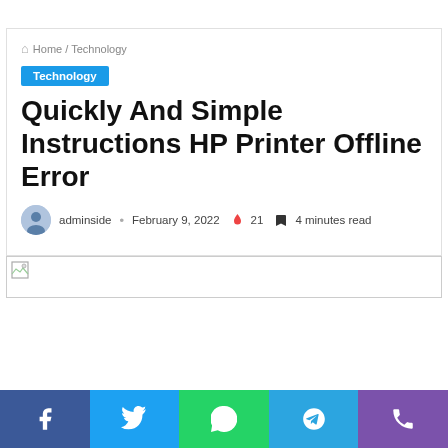Home / Technology
Technology
Quickly And Simple Instructions HP Printer Offline Error
adminside · February 9, 2022 🔥 21 🔖 4 minutes read
[Figure (photo): Article header image (broken/placeholder)]
Facebook | Twitter | WhatsApp | Telegram | Phone